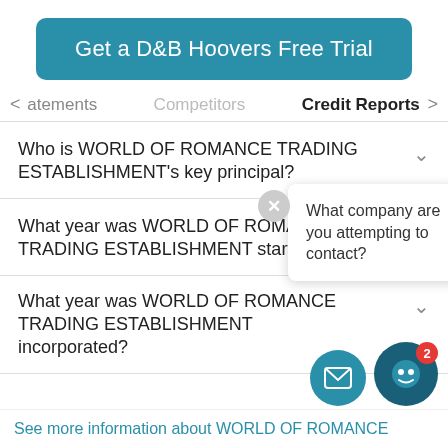[Figure (screenshot): Blue banner button reading 'Get a D&B Hoovers Free Trial']
< atements   Competitors   Credit Reports >
Who is WORLD OF ROMANCE TRADING ESTABLISHMENT's key principal?
What year was WORLD OF ROMANCE TRADING ESTABLISHMENT started?
[Figure (screenshot): Tooltip popup with close button asking 'What company are you attempting to contact?']
What year was WORLD OF ROMANCE TRADING ESTABLISHMENT incorporated?
See more information about WORLD OF ROMANCE
[Figure (screenshot): Floating action buttons: mail icon and bot icon with badge showing 2]